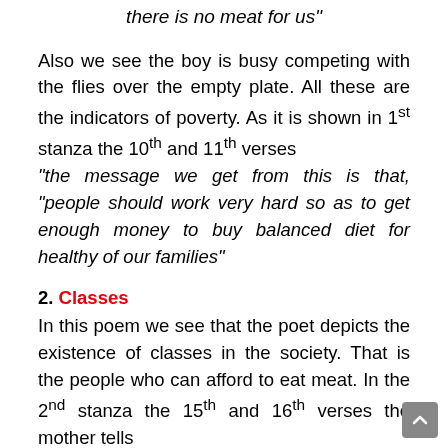there is no meat for us"
Also we see the boy is busy competing with the flies over the empty plate. All these are the indicators of poverty. As it is shown in 1st stanza the 10th and 11th verses
“the message we get from this is that, "people should work very hard so as to get enough money to buy balanced diet for healthy of our families"
2. Classes
In this poem we see that the poet depicts the existence of classes in the society. That is the people who can afford to eat meat. In the 2nd stanza the 15th and 16th verses the mother tells